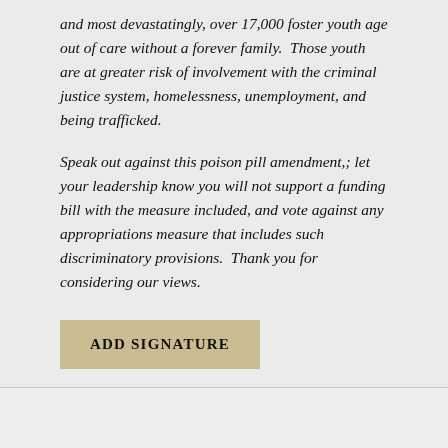and most devastatingly, over 17,000 foster youth age out of care without a forever family.  Those youth are at greater risk of involvement with the criminal justice system, homelessness, unemployment, and being trafficked.
Speak out against this poison pill amendment,; let your leadership know you will not support a funding bill with the measure included, and vote against any appropriations measure that includes such discriminatory provisions.  Thank you for considering our views.
ADD SIGNATURE